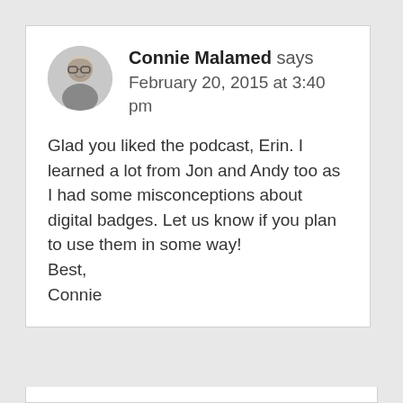[Figure (photo): Circular avatar photo of Connie Malamed, a woman wearing glasses, shown in grayscale]
Connie Malamed says
February 20, 2015 at 3:40 pm
Glad you liked the podcast, Erin. I learned a lot from Jon and Andy too as I had some misconceptions about digital badges. Let us know if you plan to use them in some way!
Best,
Connie